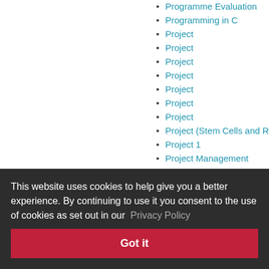Programme Evaluation
Programming in C
Project
Project
Project
Project
Project
Project
Project
Project (Stem Cells and Rege…
Project 1
Project Management
Project Management
Project Management and Sys…
Project Planning
Project Proposal in Health Sc…
… Chemical Ph…
Project for MSci Chemistry
Projects
This website uses cookies to help give you a better experience. By continuing to use it you consent to the use of cookies as set out in our Privacy Policy
Got it